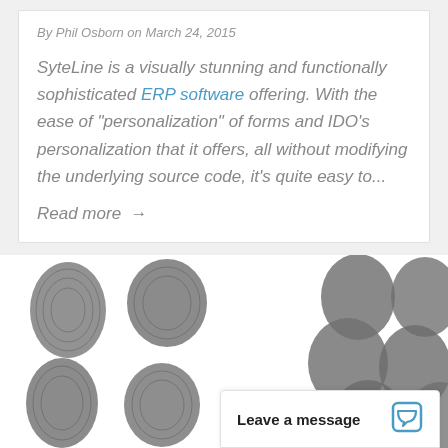By Phil Osborn on March 24, 2015
SyteLine is a visually stunning and functionally sophisticated ERP software offering. With the ease of “personalization” of forms and IDO’s personalization that it offers, all without modifying the underlying source code, it’s quite easy to…
Read more →
[Figure (illustration): Grid of fingerprint images arranged in three groups across the lower portion of the page]
Leave a message